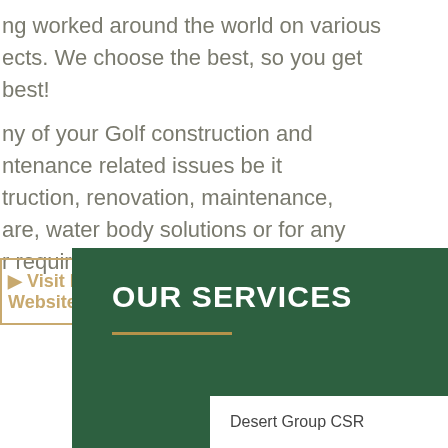ng worked around the world on various ects. We choose the best, so you get best!
ny of your Golf construction and ntenance related issues be it truction, renovation, maintenance, are, water body solutions or for any r requirement talk to us.
Visit Desert Golf Website
OUR SERVICES
Desert Group CSR